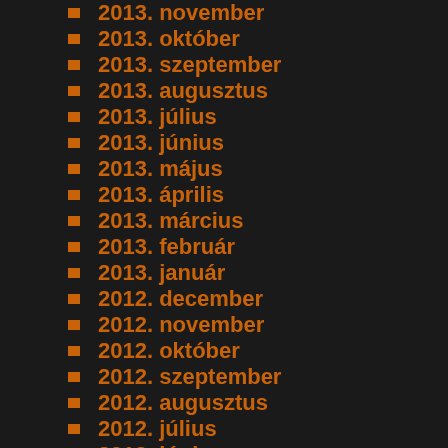2013. november
2013. október
2013. szeptember
2013. augusztus
2013. július
2013. június
2013. május
2013. április
2013. március
2013. február
2013. január
2012. december
2012. november
2012. október
2012. szeptember
2012. augusztus
2012. július
2012. június
2012. május
2012. április
2012. március
2012. február